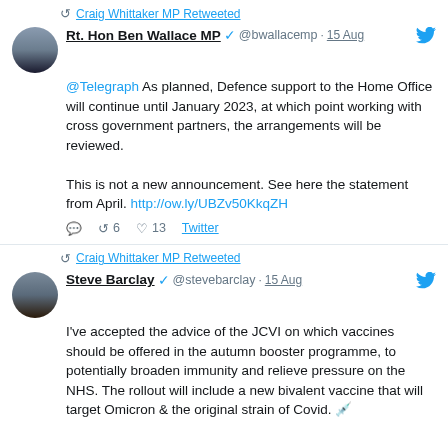Craig Whittaker MP Retweeted
Rt. Hon Ben Wallace MP @bwallacemp · 15 Aug
@Telegraph As planned, Defence support to the Home Office will continue until January 2023, at which point working with cross government partners, the arrangements will be reviewed.

This is not a new announcement. See here the statement from April. http://ow.ly/UBZv50KkqZH
6  13  Twitter
Craig Whittaker MP Retweeted
Steve Barclay @stevebarclay · 15 Aug
I've accepted the advice of the JCVI on which vaccines should be offered in the autumn booster programme, to potentially broaden immunity and relieve pressure on the NHS. The rollout will include a new bivalent vaccine that will target Omicron & the original strain of Covid. 💉